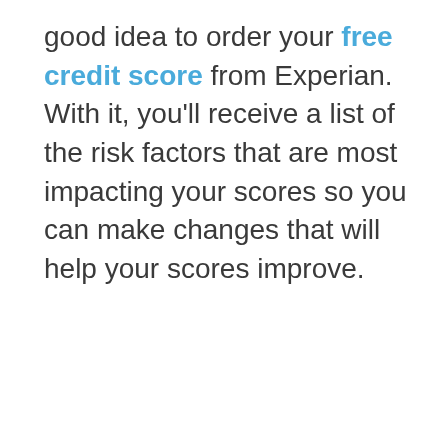good idea to order your free credit score from Experian. With it, you'll receive a list of the risk factors that are most impacting your scores so you can make changes that will help your scores improve.